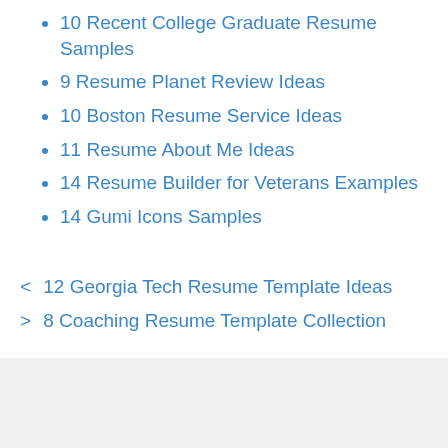10 Recent College Graduate Resume Samples
9 Resume Planet Review Ideas
10 Boston Resume Service Ideas
11 Resume About Me Ideas
14 Resume Builder for Veterans Examples
14 Gumi Icons Samples
< 12 Georgia Tech Resume Template Ideas
> 8 Coaching Resume Template Collection